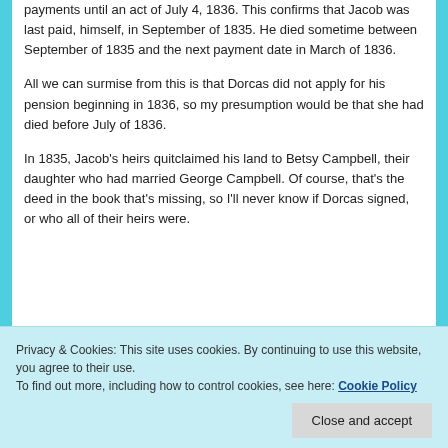payments until an act of July 4, 1836. This confirms that Jacob was last paid, himself, in September of 1835. He died sometime between September of 1835 and the next payment date in March of 1836.
All we can surmise from this is that Dorcas did not apply for his pension beginning in 1836, so my presumption would be that she had died before July of 1836.
In 1835, Jacob's heirs quitclaimed his land to Betsy Campbell, their daughter who had married George Campbell. Of course, that's the deed in the book that's missing, so I'll never know if Dorcas signed, or who all of their heirs were.
Privacy & Cookies: This site uses cookies. By continuing to use this website, you agree to their use.
To find out more, including how to control cookies, see here: Cookie Policy
Close and accept